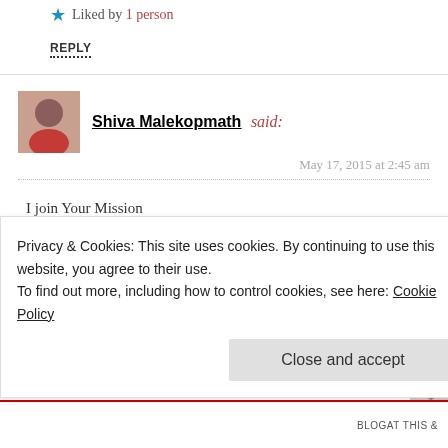Liked by 1 person
REPLY
Shiva Malekopmath said:
May 17, 2015 at 2:45 am
I join Your Mission
wont you join mine
Liked by 2 people
REPLY
themissiontomars said:
Privacy & Cookies: This site uses cookies. By continuing to use this website, you agree to their use.
To find out more, including how to control cookies, see here: Cookie Policy
Close and accept